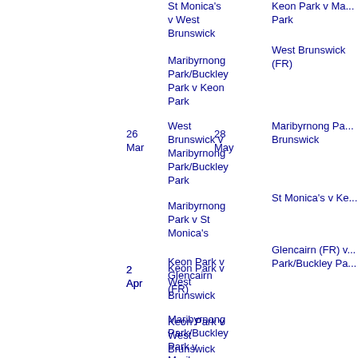St Monica's v West Brunswick
Maribyrnong Park/Buckley Park v Keon Park
West Brunswick v Maribyrnong Park/Buckley Park
26 Mar
Maribyrnong Park v St Monica's
Keon Park v Glencairn (FR)
Keon Park v Ma... Park
West Brunswick (FR)
28 May
Maribyrnong Pa... Brunswick
St Monica's v Ke...
Glencairn (FR) v... Park/Buckley Pa...
2 Apr
Keon Park v West Brunswick
Maribyrnong Park/Buckley Park v Maribyrnong Park
St Monica's v Glencairn (FR)